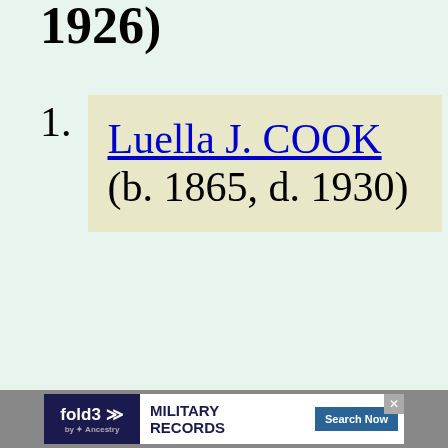1926)
Luella J. COOK (b. 1865, d. 1930)
[Figure (other): fold3 by Ancestry advertisement banner for Military Records with Search Now button]